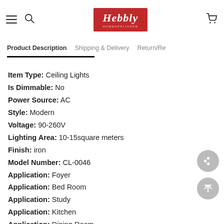Hebbly — navigation header with hamburger menu, search, logo, and cart
Product Description | Shipping & Delivery | Return/Re...
Item Type: Ceiling Lights
Is Dimmable: No
Power Source: AC
Style: Modern
Voltage: 90-260V
Lighting Area: 10-15square meters
Finish: iron
Model Number: CL-0046
Application: Foyer
Application: Bed Room
Application: Study
Application: Kitchen
Application: Dining Room
Features: modern led celing light
Light Source: LED Bulbs